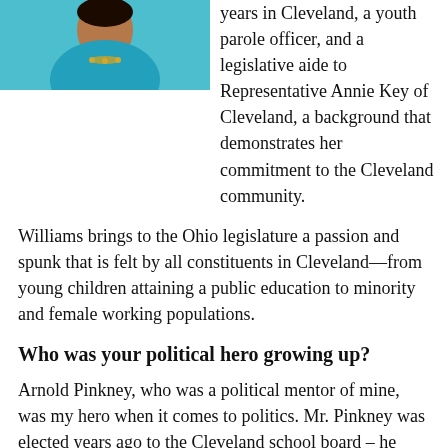[Figure (photo): Photo of a woman in a teal/turquoise outfit with a necklace, cropped at top of page]
years in Cleveland, a youth parole officer, and a legislative aide to Representative Annie Key of Cleveland, a background that demonstrates her commitment to the Cleveland community.
Williams brings to the Ohio legislature a passion and spunk that is felt by all constituents in Cleveland—from young children attaining a public education to minority and female working populations.
Who was your political hero growing up?
Arnold Pinkney, who was a political mentor of mine, was my hero when it comes to politics. Mr. Pinkney was elected years ago to the Cleveland school board – he served on many board and commissions across the state, he was a political strategist—he helped so many people get to where they are today. He taught me about negotiation, working at the legislature, speaking to constituents and understanding the things that my district needs.